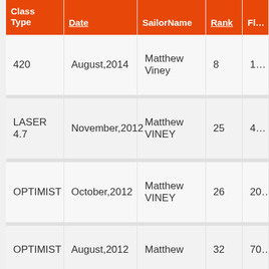| Class Type | Date | SailorName | Rank | Fl… |
| --- | --- | --- | --- | --- |
| 420 | August,2014 | Matthew Viney | 8 | 1… |
| LASER 4.7 | November,2012 | Matthew VINEY | 25 | 4… |
| OPTIMIST | October,2012 | Matthew VINEY | 26 | 20… |
| OPTIMIST | August,2012 | Matthew… | 32 | 70… |